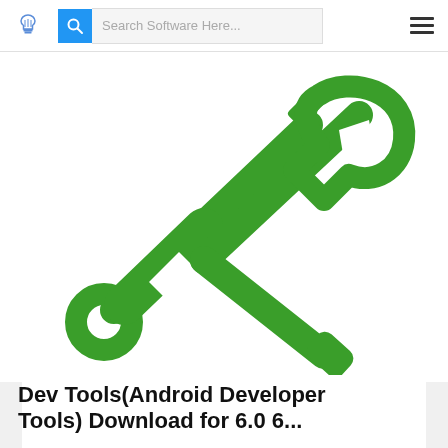Search Software Here...
[Figure (illustration): Green icon of crossed screwdriver and wrench tools on white background]
Dev Tools(Android Developer Tools) Download for 6.0 6...